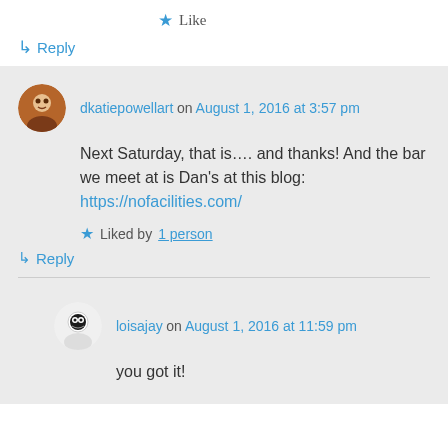★ Like
↳ Reply
dkatiepowellart on August 1, 2016 at 3:57 pm
Next Saturday, that is…. and thanks! And the bar we meet at is Dan's at this blog: https://nofacilities.com/
★ Liked by 1 person
↳ Reply
loisajay on August 1, 2016 at 11:59 pm
you got it!